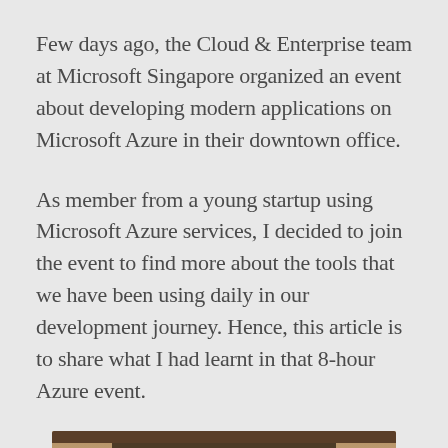Few days ago, the Cloud & Enterprise team at Microsoft Singapore organized an event about developing modern applications on Microsoft Azure in their downtown office.
As member from a young startup using Microsoft Azure services, I decided to join the event to find more about the tools that we have been using daily in our development journey. Hence, this article is to share what I had learnt in that 8-hour Azure event.
[Figure (photo): Partial photo of what appears to be a wooden presentation or conference room interior, partially visible at the bottom of the page]